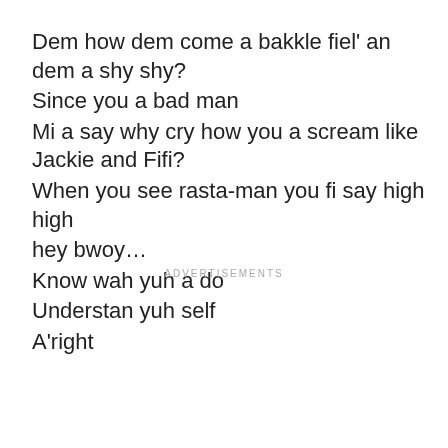Dem how dem come a bakkle fiel' an dem a shy shy?
Since you a bad man
Mi a say why cry how you a scream like Jackie and Fifi?
When you see rasta-man you fi say high high
hey bwoy…
Know wah yuh a do
Understan yuh self
A'right
ADVERTISEMENTS